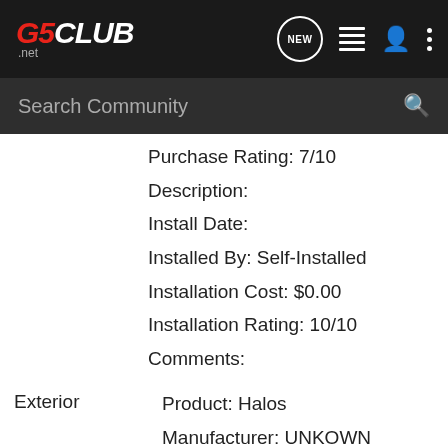G5CLUB.net
Search Community
Purchase Rating: 7/10
Description:
Install Date:
Installed By: Self-Installed
Installation Cost: $0.00
Installation Rating: 10/10
Comments:
Exterior
Product: Halos
Manufacturer: UNKOWN
Product Rating: 9/10
Purchase Date:
Purchase Price: $140.00
Purchased From: Purchased Used
Purchase Rating: 9/10